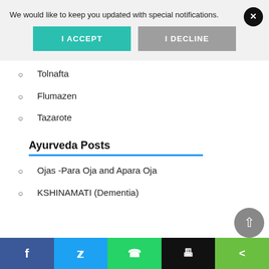We would like to keep you updated with special notifications.
I ACCEPT
I DECLINE
Tolnafta
Flumazen
Tazarote
Ayurveda Posts
Ojas -Para Oja and Apara Oja
KSHINAMATI (Dementia)